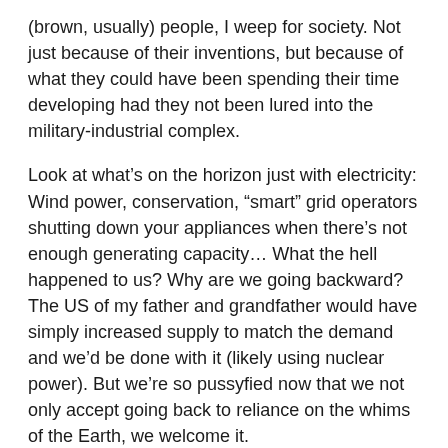(brown, usually) people, I weep for society. Not just because of their inventions, but because of what they could have been spending their time developing had they not been lured into the military-industrial complex.
Look at what's on the horizon just with electricity: Wind power, conservation, “smart” grid operators shutting down your appliances when there’s not enough generating capacity… What the hell happened to us? Why are we going backward? The US of my father and grandfather would have simply increased supply to match the demand and we’d be done with it (likely using nuclear power). But we’re so pussyfied now that we not only accept going back to reliance on the whims of the Earth, we welcome it.